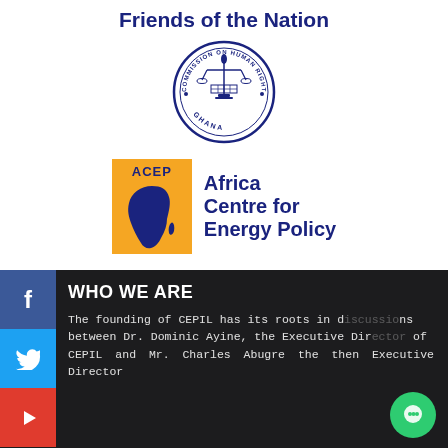[Figure (logo): Friends of the Nation logo text]
Friends of the Nation
[Figure (logo): Commission on Human Rights and Administrative Justice Ghana circular seal logo]
[Figure (logo): ACEP Africa Centre for Energy Policy logo with orange Africa map badge]
[Figure (logo): Facebook social media button]
[Figure (logo): Twitter social media button]
[Figure (logo): YouTube social media button]
WHO WE ARE
The founding of CEPIL has its roots in discussions between Dr. Dominic Ayine, the Executive Director of CEPIL and Mr. Charles Abugre the then Executive Director